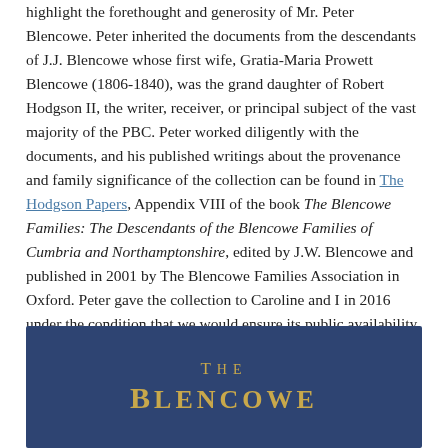highlight the forethought and generosity of Mr. Peter Blencowe. Peter inherited the documents from the descendants of J.J. Blencowe whose first wife, Gratia-Maria Prowett Blencowe (1806-1840), was the grand daughter of Robert Hodgson II, the writer, receiver, or principal subject of the vast majority of the PBC. Peter worked diligently with the documents, and his published writings about the provenance and family significance of the collection can be found in The Hodgson Papers, Appendix VIII of the book The Blencowe Families: The Descendants of the Blencowe Families of Cumbria and Northamptonshire, edited by J.W. Blencowe and published in 2001 by The Blencowe Families Association in Oxford. Peter gave the collection to Caroline and I in 2016 under the condition that we would ensure its public availability.
[Figure (photo): Blue book cover with gold text reading THE BLENCOWE]